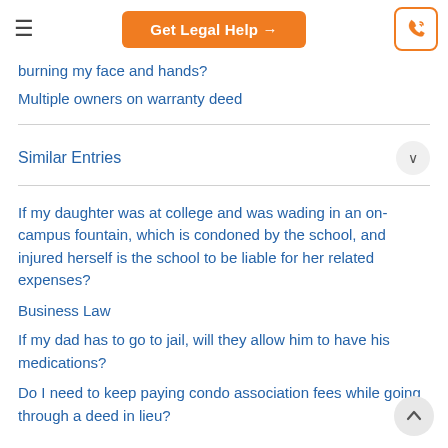Get Legal Help →
burning my face and hands?
Multiple owners on warranty deed
Similar Entries
If my daughter was at college and was wading in an on-campus fountain, which is condoned by the school, and injured herself is the school to be liable for her related expenses?
Business Law
If my dad has to go to jail, will they allow him to have his medications?
Do I need to keep paying condo association fees while going through a deed in lieu?